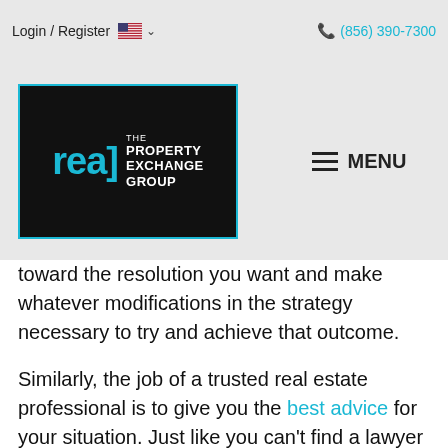Login / Register  🇺🇸 ∨   (856) 390-7300
[Figure (logo): The Real Property Exchange Group logo — black box with cyan bracket-style letters 'rea]' and white text 'THE PROPERTY EXCHANGE GROUP']
toward the resolution you want and make whatever modifications in the strategy necessary to try and achieve that outcome.
Similarly, the job of a trusted real estate professional is to give you the best advice for your situation. Just like you can't find a lawyer to give you perfect advice, you won't find a real estate professional who can either. They can't because it's impossible to know exactly what's going to happen throughout your transaction. They also can't predict exactly what will happen with conditions in today's housing market.